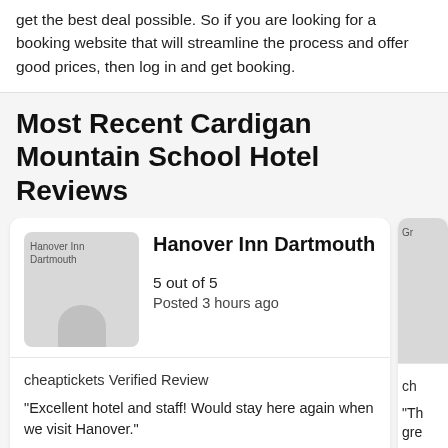get the best deal possible. So if you are looking for a booking website that will streamline the process and offer good prices, then log in and get booking.
Most Recent Cardigan Mountain School Hotel Reviews
Hanover Inn Dartmouth
5 out of 5
Posted 3 hours ago
cheatickets Verified Review
"Excellent hotel and staff! Would stay here again when we visit Hanover."
A verified traveler stayed at Hanover Inn Dartmouth
Choose your dates